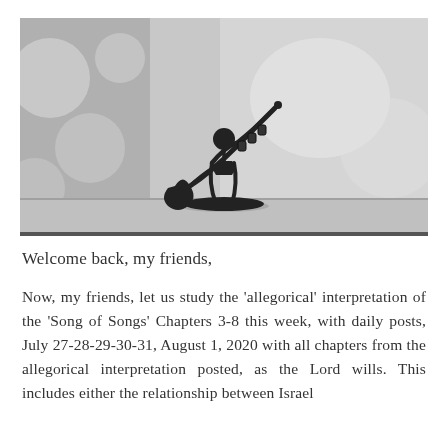[Figure (photo): Black and white photograph of a metal wire sculpture of a stick figure playing a trumpet, standing on a circular base, with a blurred background.]
Welcome back, my friends,
Now, my friends, let us study the 'allegorical' interpretation of the 'Song of Songs' Chapters 3-8 this week, with daily posts, July 27-28-29-30-31, August 1, 2020 with all chapters from the allegorical interpretation posted, as the Lord wills. This includes either the relationship between Israel